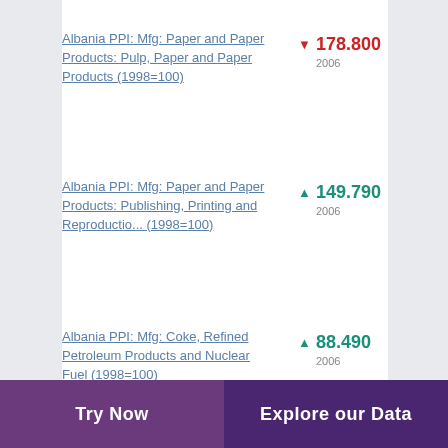Albania PPI: Mfg: Paper and Paper Products: Pulp, Paper and Paper Products (1998=100)
Albania PPI: Mfg: Paper and Paper Products: Publishing, Printing and Reproductio... (1998=100)
Albania PPI: Mfg: Coke, Refined Petroleum Products and Nuclear Fuel (1998=100)
Try Now | Explore our Data